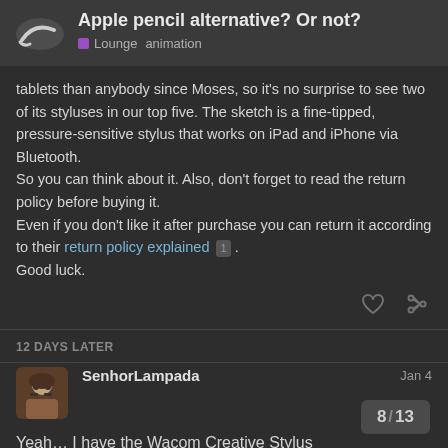Apple pencil alternative? Or not? | Lounge animation
tablets than anybody since Moses, so it's no surprise to see two of its styluses in our top five. The sketch is a fine-tipped, pressure-sensitive stylus that works on iPad and iPhone via Bluetooth.
So you can think about it. Also, don't forget to read the return policy before buying it.
Even if you don't like it after purchase you can return it according to their return policy explained 1 .
Good luck.
12 DAYS LATER
SenhorLampada    Jan 4
Yeah… I have the Wacom Creative Stylus